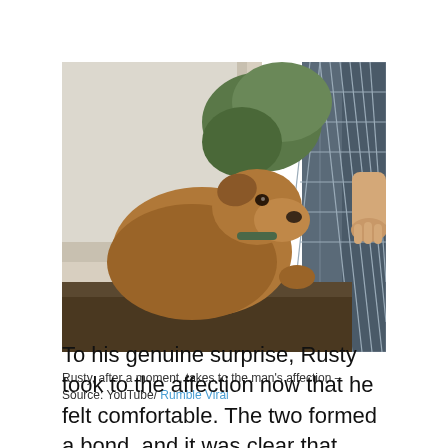[Figure (photo): A brown dog with a collar crouching near a chain-link fence, with a person's arm reaching through the fence toward the dog, surrounded by greenery and a building in the background.]
Rusty, after a moment, takes to the man's affection – Source: YouTube/ Rumble Viral
To his genuine surprise, Rusty took to the affection now that he felt comfortable. The two formed a bond, and it was clear that